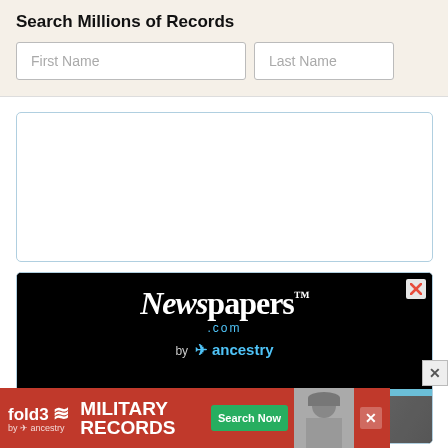Search Millions of Records
First Name
Last Name
[Figure (screenshot): Empty white content area with light blue border, representing a record search results panel]
[Figure (advertisement): Newspapers.com by Ancestry advertisement with black background showing logo and vintage photo of person with hat]
[Figure (advertisement): fold3 Military Records advertisement by Ancestry with red background, Search Now button, and vintage military photo]